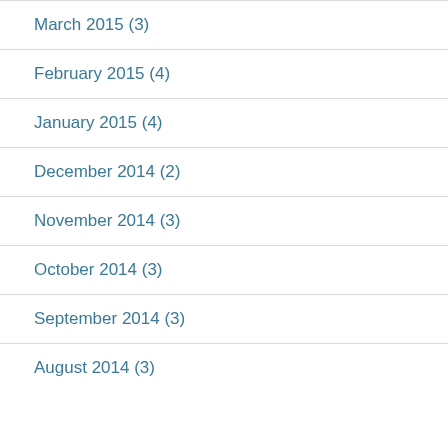March 2015 (3)
February 2015 (4)
January 2015 (4)
December 2014 (2)
November 2014 (3)
October 2014 (3)
September 2014 (3)
August 2014 (3)